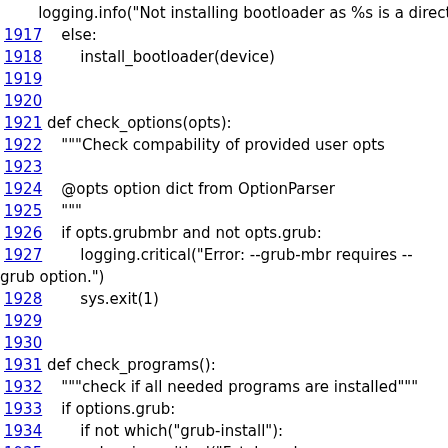Code listing lines 1917-1937 showing Python functions check_options and check_programs
logging.info("Not installing bootloader as %s is a directory.", de
1917    else:
1918        install_bootloader(device)
1919
1920
1921 def check_options(opts):
1922    """Check compability of provided user opts
1923
1924    @opts option dict from OptionParser
1925    """
1926    if opts.grubmbr and not opts.grub:
1927        logging.critical("Error: --grub-mbr requires --grub option.")
1928        sys.exit(1)
1929
1930
1931 def check_programs():
1932    """check if all needed programs are installed"""
1933    if options.grub:
1934        if not which("grub-install"):
1935            logging.critical("Fatal: grub-install not available (please install the "
1936                            + "grub package or drop the --grub option)")
1937        sys.exit(1)